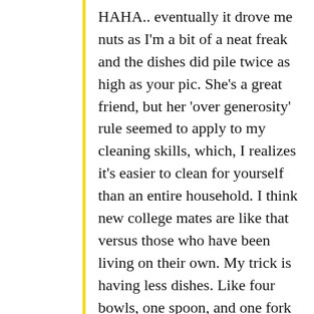HAHA.. eventually it drove me nuts as I'm a bit of a neat freak and the dishes did pile twice as high as your pic. She's a great friend, but her 'over generosity' rule seemed to apply to my cleaning skills, which, I realizes it's easier to clean for yourself than an entire household. I think new college mates are like that versus those who have been living on their own. My trick is having less dishes. Like four bowls, one spoon, and one fork (okay, I have three, but I really should return them back to work). This way, less dishes, means you HAVE to wash them.